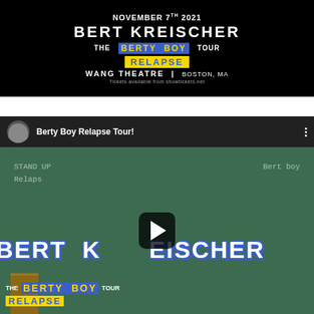[Figure (photo): Concert promotional poster for Bert Kreischer – The Berty Boy Tour Relapse at Wang Theatre, Boston MA, November 7th 2021. Dark background with performer image.]
[Figure (screenshot): YouTube video thumbnail for 'Berty Boy Relapse Tour!' showing Bert Kreischer shirtless in front of a chalkboard with 'Stand Up Bert boy Relapse' written on it. Large BERT KREISCHER text overlay, Berty Boy Tour Relapse branding, play button in center.]